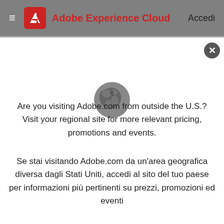Adobe Experience Cloud  Accedi
[Figure (screenshot): Adobe Experience Cloud website with a modal dialog showing a globe icon and multilingual text asking users visiting from outside the U.S. to visit their regional site.]
Are you visiting Adobe.com from outside the U.S.? Visit your regional site for more relevant pricing, promotions and events.
Se stai visitando Adobe.com da un’area geografica diversa dagli Stati Uniti, accedi al sito del tuo paese per informazioni più pertinenti su prezzi, promozioni ed eventi
technical documentation.